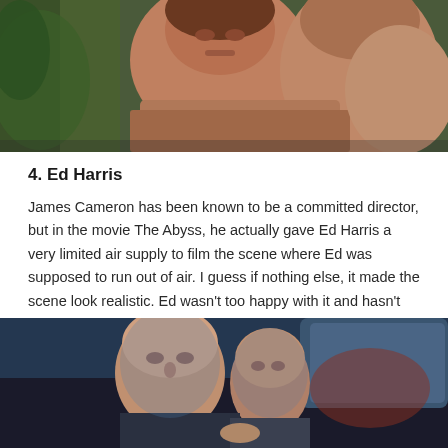[Figure (photo): Partial cropped photo showing two people outdoors among green foliage, one person in a fur/leather garment visible from chest up]
4. Ed Harris
James Cameron has been known to be a committed director, but in the movie The Abyss, he actually gave Ed Harris a very limited air supply to film the scene where Ed was supposed to run out of air. I guess if nothing else, it made the scene look realistic. Ed wasn’t too happy with it and hasn’t worked with Cameron since.
[Figure (photo): Photo of Ed Harris and another person looking forward, inside what appears to be a vehicle, with blue lighting. Scene appears to be from The Abyss.]